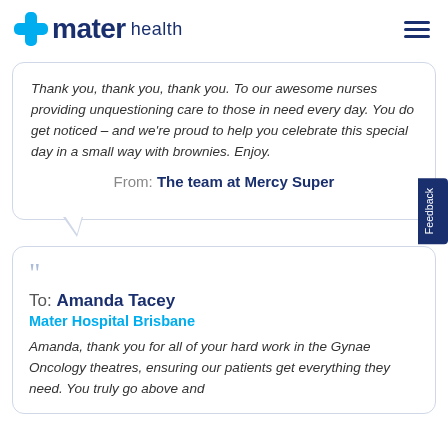[Figure (logo): Mater Health logo with teal cross icon and dark blue bold text 'mater health']
Thank you, thank you, thank you. To our awesome nurses providing unquestioning care to those in need every day. You do get noticed – and we're proud to help you celebrate this special day in a small way with brownies. Enjoy.
From: The team at Mercy Super
To: Amanda Tacey
Mater Hospital Brisbane
Amanda, thank you for all of your hard work in the Gynae Oncology theatres, ensuring our patients get everything they need. You truly go above and